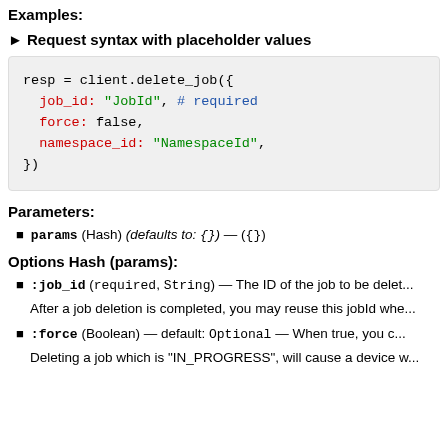Examples:
► Request syntax with placeholder values
[Figure (screenshot): Code block showing Ruby syntax: resp = client.delete_job({ job_id: "JobId", # required force: false, namespace_id: "NamespaceId", })]
Parameters:
params (Hash) (defaults to: {}) — ({})
Options Hash (params):
:job_id (required, String) — The ID of the job to be delet...
After a job deletion is completed, you may reuse this jobId whe...
:force (Boolean) — default: Optional — When true, you c...
Deleting a job which is "IN_PROGRESS", will cause a device w...